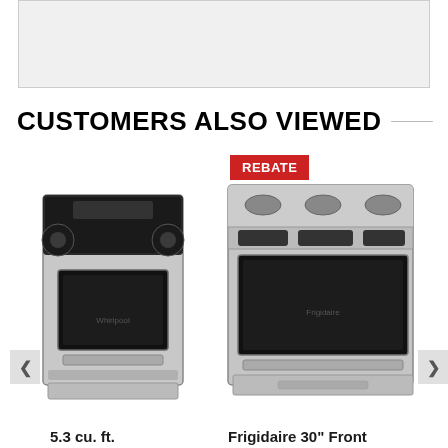[Figure (photo): Top gray placeholder image area]
CUSTOMERS ALSO VIEWED
[Figure (photo): Whirlpool electric range stainless steel freestanding range]
5.3 cu. ft. Whirlpool®...
[Figure (photo): Frigidaire 30 inch front control gas range stainless steel with REBATE badge]
Frigidaire 30" Front Control Gas Range